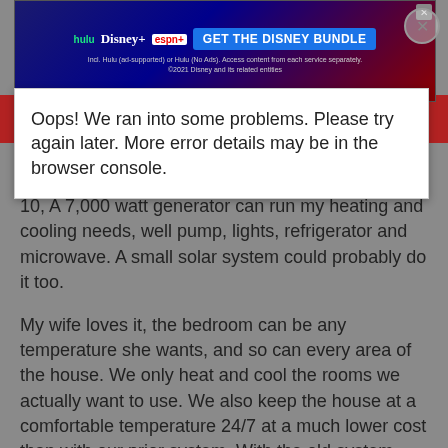[Figure (screenshot): Disney Bundle advertisement banner with Hulu, Disney+, ESPN+ logos and 'GET THE DISNEY BUNDLE' call-to-action button]
Oops
Oops! We ran into some problems. Please try again later. More error details may be in the browser console.
floor, etc.
10, A 7,000 watt generator can run my heating and cooling needs, well pump, lights, refrigerator and microwave. A small solar system could probably do it too.
My wife loves it, the bedroom can be any temperature she wants, and so can every area of the house. We only heat and cool the rooms we actually want to use. We also keep the house at a comfortable temperature 24/7 at a much lower cost than with our prior system. With the old system, while trying to do everything we could to only run it when absolutely needed, and supplementing the heating heavily with a wood stove, it was far more money per month.